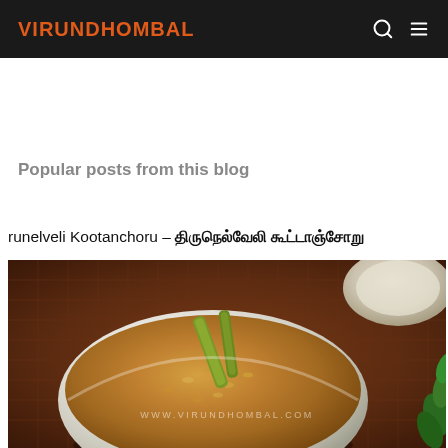VIRUNDHOMBAL
Popular posts from this blog
runelveli Kootanchoru - திருநெல்வேலி கூட்டாஞ்சோறு
[Figure (photo): A white bowl filled with Kootanchoru (mixed rice dish) with drumsticks on top, served on a dark woven mat. Watermark reads WWW.VIRUNDHOMBAL.COM]